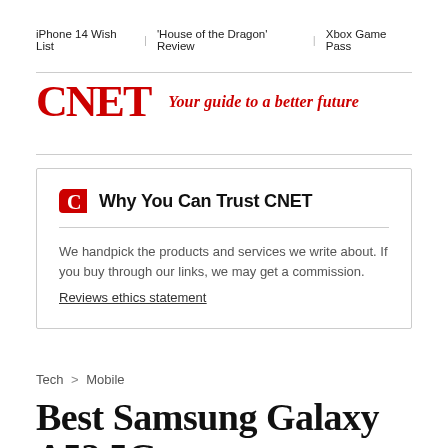iPhone 14 Wish List  |  'House of the Dragon' Review  |  Xbox Game Pass
[Figure (logo): CNET logo in red bold serif font with tagline 'Your guide to a better future' in red italic]
Why You Can Trust CNET
We handpick the products and services we write about. If you buy through our links, we may get a commission.
Reviews ethics statement
Tech > Mobile
Best Samsung Galaxy A53 5G